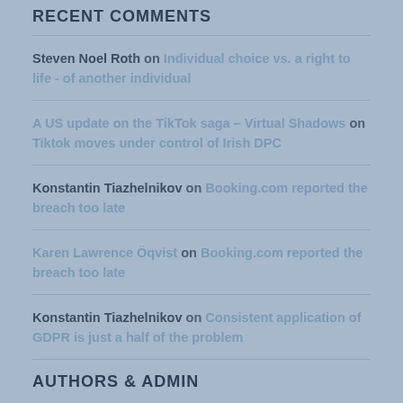RECENT COMMENTS
Steven Noel Roth on Individual choice vs. a right to life - of another individual
A US update on the TikTok saga – Virtual Shadows on Tiktok moves under control of Irish DPC
Konstantin Tiazhelnikov on Booking.com reported the breach too late
Karen Lawrence Öqvist on Booking.com reported the breach too late
Konstantin Tiazhelnikov on Consistent application of GDPR is just a half of the problem
AUTHORS & ADMIN